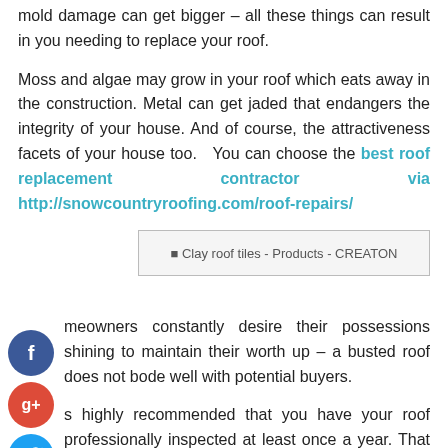mold damage can get bigger – all these things can result in you needing to replace your roof.
Moss and algae may grow in your roof which eats away in the construction. Metal can get jaded that endangers the integrity of your house. And of course, the attractiveness facets of your house too. You can choose the best roof replacement contractor via http://snowcountryroofing.com/roof-repairs/
[Figure (photo): Clay roof tiles - Products - CREATON image placeholder]
Homeowners constantly desire their possessions shining to maintain their worth up – a busted roof does not bode well with potential buyers.
It is highly recommended that you have your roof professionally inspected at least once a year. That would include checking for leaks, looking for cracks, loose tiling, and beautification. Homeowners can inspect their roofs and identify potential or